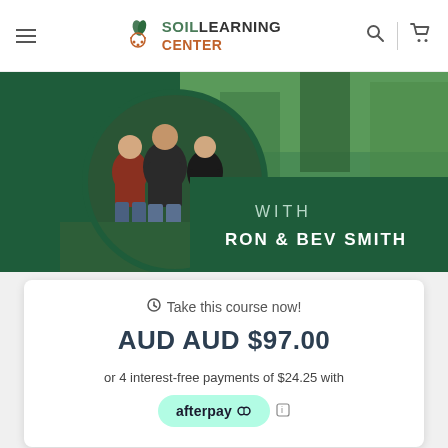Soil Learning Center — navigation header with hamburger menu, logo, search and cart icons
[Figure (photo): Hero banner image showing three people standing in a green field/crop, with circular photo frame on left and dark green background on right with text 'WITH RON & BEV SMITH']
Take this course now!
AUD AUD $97.00
or 4 interest-free payments of $24.25 with
[Figure (logo): Afterpay logo button in mint green rounded rectangle]